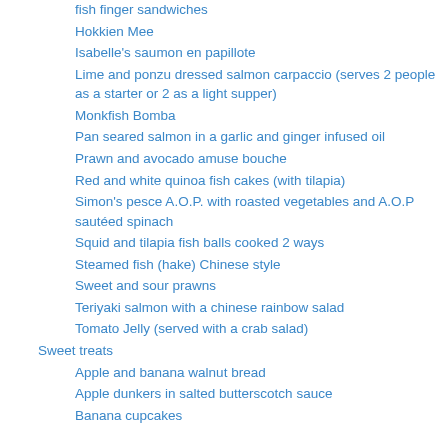fish finger sandwiches
Hokkien Mee
Isabelle's saumon en papillote
Lime and ponzu dressed salmon carpaccio (serves 2 people as a starter or 2 as a light supper)
Monkfish Bomba
Pan seared salmon in a garlic and ginger infused oil
Prawn and avocado amuse bouche
Red and white quinoa fish cakes (with tilapia)
Simon's pesce A.O.P. with roasted vegetables and A.O.P sautéed spinach
Squid and tilapia fish balls cooked 2 ways
Steamed fish (hake) Chinese style
Sweet and sour prawns
Teriyaki salmon with a chinese rainbow salad
Tomato Jelly (served with a crab salad)
Sweet treats
Apple and banana walnut bread
Apple dunkers in salted butterscotch sauce
Banana cupcakes